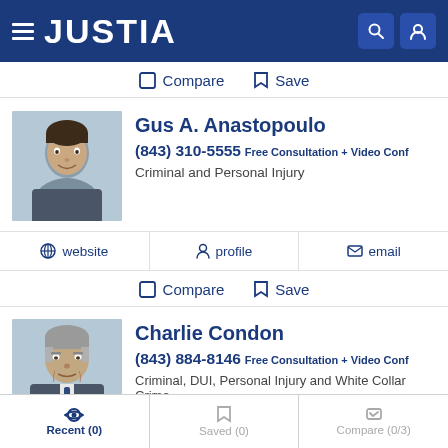JUSTIA
Compare  Save
Gus A. Anastopoulo
(843) 310-5555 Free Consultation + Video Conf
Criminal and Personal Injury
website  profile  email
Compare  Save
Charlie Condon
(843) 884-8146 Free Consultation + Video Conf
Criminal, DUI, Personal Injury and White Collar Crime
Recent (0)  Saved (0)  Compare (0/3)